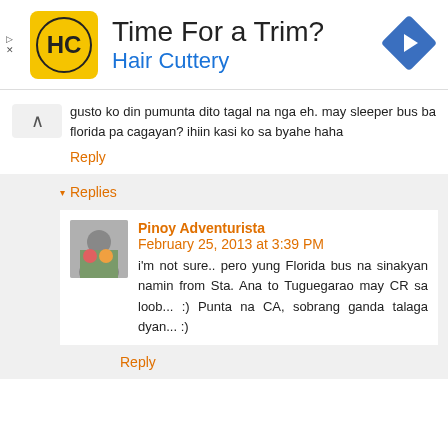[Figure (infographic): Advertisement banner for Hair Cuttery showing HC logo on yellow background, text 'Time For a Trim?' and 'Hair Cuttery', with a blue diamond navigation icon on the right]
gusto ko din pumunta dito tagal na nga eh. may sleeper bus ba florida pa cagayan? ihiin kasi ko sa byahe haha
Reply
Replies
Pinoy Adventurista
February 25, 2013 at 3:39 PM
i'm not sure.. pero yung Florida bus na sinakyan namin from Sta. Ana to Tuguegarao may CR sa loob... :) Punta na CA, sobrang ganda talaga dyan... :)
Reply